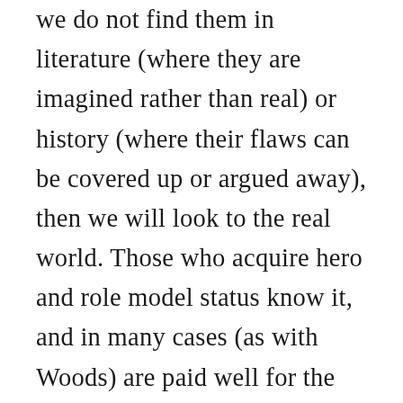we do not find them in literature (where they are imagined rather than real) or history (where their flaws can be covered up or argued away), then we will look to the real world. Those who acquire hero and role model status know it, and in many cases (as with Woods) are paid well for the honor and the burden. If they take their responsibility seriously, they will make a special effort not to indulge their human flaws, and to live up to heroic standards, even unreasonable ones.